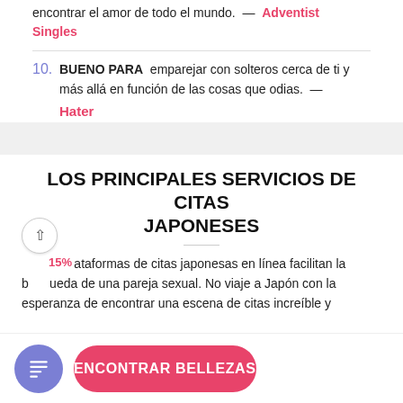encontrar el amor de todo el mundo. — Adventist Singles
10. BUENO PARA emparejar con solteros cerca de ti y más allá en función de las cosas que odias. — Hater
LOS PRINCIPALES SERVICIOS DE CITAS JAPONESES
Las plataformas de citas japonesas en línea facilitan la búsqueda de una pareja sexual. No viaje a Japón con la esperanza de encontrar una escena de citas increíble y
ENCONTRAR BELLEZAS